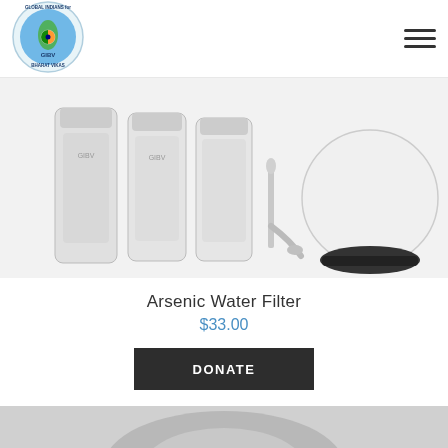[Figure (logo): GIBV logo — circular emblem with text 'GLOBAL INDIANS for BHARAT VIKAS' around the border, globe with Indian map in center, text 'GIBV' at bottom]
[Figure (photo): Water filter system product photo showing three white cylindrical filter cartridges, a chrome faucet, and a large white round pressure tank on a black base]
Arsenic Water Filter
$33.00
DONATE
[Figure (photo): Partial view of a grey/metal circular object at the bottom of the page, partially cropped]